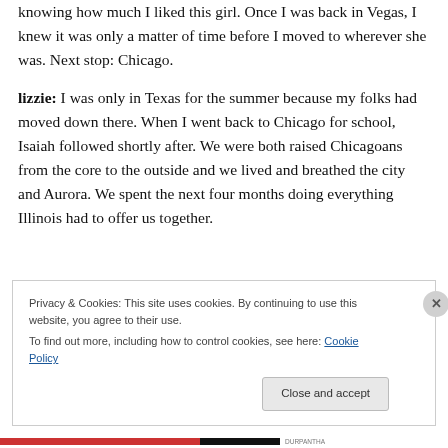knowing how much I liked this girl. Once I was back in Vegas, I knew it was only a matter of time before I moved to wherever she was. Next stop: Chicago.
lizzie: I was only in Texas for the summer because my folks had moved down there. When I went back to Chicago for school, Isaiah followed shortly after. We were both raised Chicagoans from the core to the outside and we lived and breathed the city and Aurora. We spent the next four months doing everything Illinois had to offer us together.
Privacy & Cookies: This site uses cookies. By continuing to use this website, you agree to their use.
To find out more, including how to control cookies, see here: Cookie Policy
Close and accept